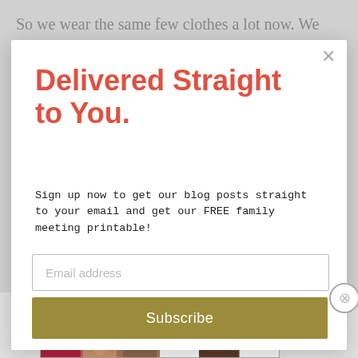So we wear the same few clothes a lot now. We have fewer new things. Our vacations that bring us so much
[Figure (screenshot): Email newsletter signup modal overlay with title 'Delivered Straight to You.' in red, body text, email input, and Subscribe button]
Delivered Straight to You.
Sign up now to get our blog posts straight to your email and get our FREE family meeting printable!
Email address
Subscribe
Advertisements
[Figure (photo): Ulta Beauty advertisement banner showing makeup imagery including lips, brush, eye, Ulta logo, eyes, and SHOP NOW text]